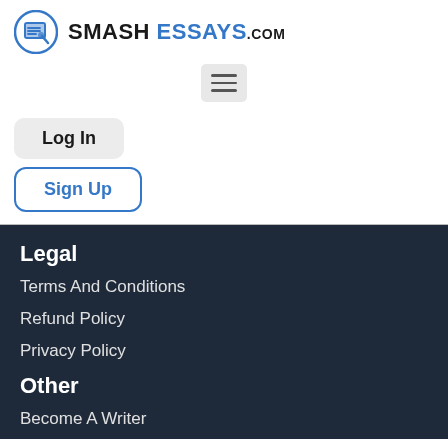[Figure (logo): SmashEssays.com logo with blue circular icon containing paper and pencil, followed by bold text SMASH ESSAYS.com]
[Figure (other): Hamburger menu button with three horizontal lines on gray background]
Log In
Sign Up
Legal
Terms And Conditions
Refund Policy
Privacy Policy
Other
Become A Writer